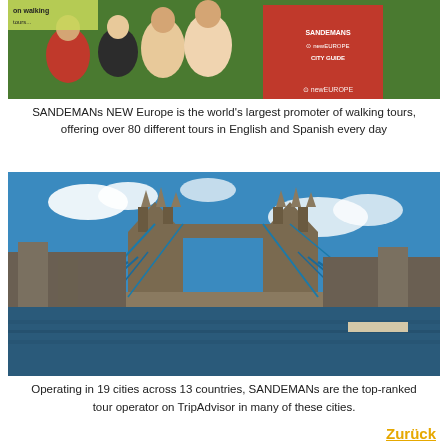[Figure (photo): Group of tourists with a guide in a red SANDEMANs NEW Europe City Guide t-shirt outdoors]
SANDEMANs NEW Europe is the world's largest promoter of walking tours, offering over 80 different tours in English and Spanish every day
[Figure (photo): Tower Bridge in London photographed from across the Thames on a sunny day with blue sky and clouds]
Operating in 19 cities across 13 countries, SANDEMANs are the top-ranked tour operator on TripAdvisor in many of these cities.
Zurück